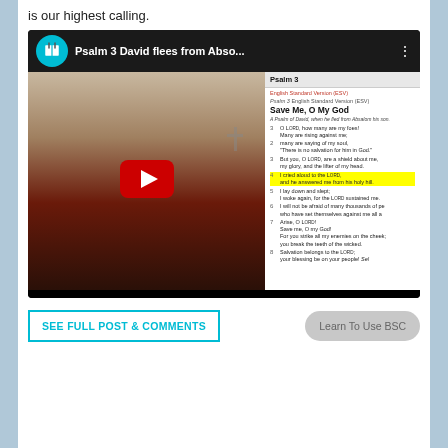is our highest calling.
[Figure (screenshot): YouTube video thumbnail showing a man looking down, with a Bible app panel on the right showing Psalm 3. Video title: 'Psalm 3 David flees from Abso...']
SEE FULL POST & COMMENTS
Learn To Use BSC